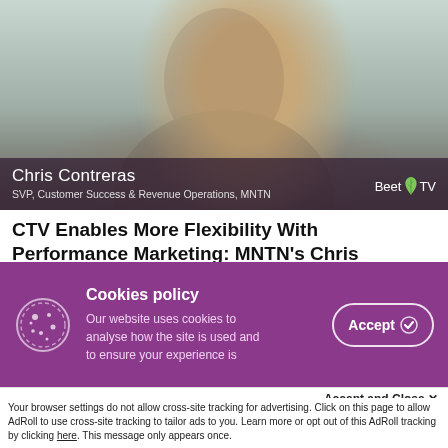[Figure (photo): Video thumbnail showing Chris Contreras smiling, with a dark semi-transparent lower bar displaying his name and title, and a BeetTV logo in the bottom right.]
CTV Enables More Flexibility With Performance Marketing: MNTN’s Chris Contreras
The past decade saw a proliferation of digitally native brands that harnessed the power of social media platforms like
Cookies policy
Our website uses cookies to analyse how the site is used and to ensure your experience is
Accept and Close ×
Your browser settings do not allow cross-site tracking for advertising. Click on this page to allow AdRoll to use cross-site tracking to tailor ads to you. Learn more or opt out of this AdRoll tracking by clicking here. This message only appears once.